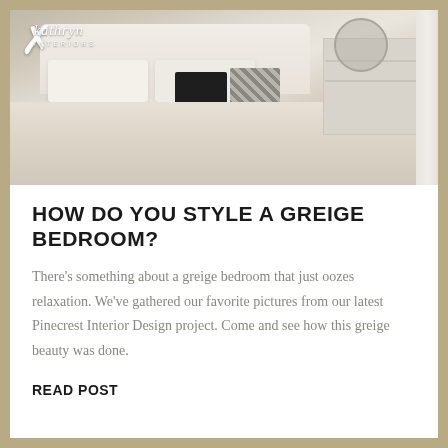[Figure (photo): Greige bedroom interior photo showing a bed with white and dark pillows, light-colored blankets, and a dresser in the background. Kathryn Interiors logo overlaid in white in the top-left corner.]
HOW DO YOU STYLE A GREIGE BEDROOM?
There's something about a greige bedroom that just oozes relaxation. We've gathered our favorite pictures from our latest Pinecrest Interior Design project. Come and see how this greige beauty was done.
READ POST